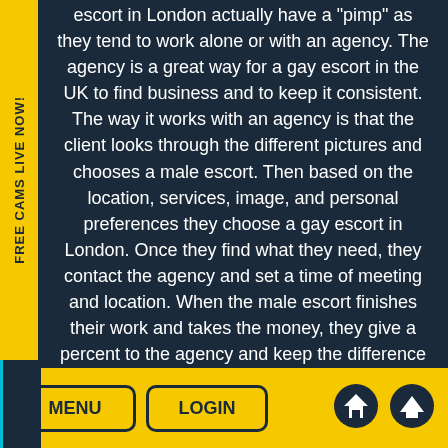escort in London actually have a "pimp" as they tend to work alone or with an agency. The agency is a great way for a gay escort in the UK to find business and to keep it consistent. The way it works with an agency is that the client looks through the different pictures and chooses a male escort. Then based on the location, services, image, and personal preferences they choose a gay escort in London. Once they find what they need, they contact the agency and set a time of meeting and location. When the male escort finishes their work and takes the money, they give a percent to the agency and keep the difference and any tips. The percent is determined based on the popularity of the agency.

Thought you can still find a gay escort in London on
MENU  LOGIN  [home icon]  [up icon]